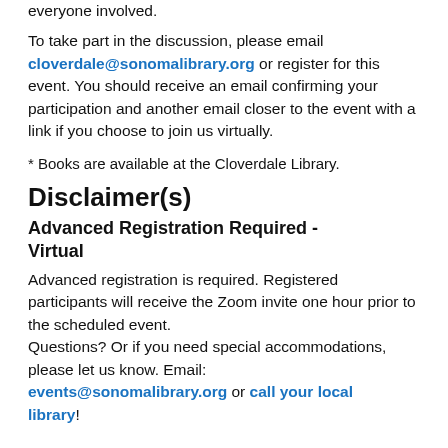everyone involved.
To take part in the discussion, please email cloverdale@sonomalibrary.org or register for this event. You should receive an email confirming your participation and another email closer to the event with a link if you choose to join us virtually.
* Books are available at the Cloverdale Library.
Disclaimer(s)
Advanced Registration Required - Virtual
Advanced registration is required. Registered participants will receive the Zoom invite one hour prior to the scheduled event.
Questions? Or if you need special accommodations, please let us know. Email: events@sonomalibrary.org or call your local library!